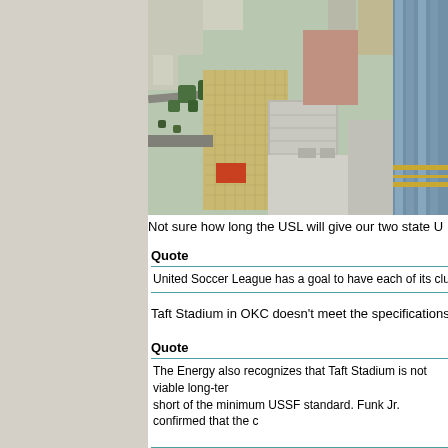[Figure (photo): Aerial photograph of an urban downtown area showing multi-story buildings, streets, and a modern glass skyscraper on the right side.]
Not sure how long the USL will give our two state U
Quote
United Soccer League has a goal to have each of its clubs playing
Taft Stadium in OKC doesn't meet the specifications
Quote
The Energy also recognizes that Taft Stadium is not viable long-ter
short of the minimum USSF standard. Funk Jr. confirmed that the c